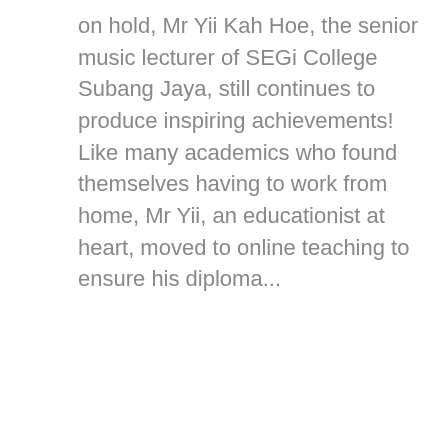on hold, Mr Yii Kah Hoe, the senior music lecturer of SEGi College Subang Jaya, still continues to produce inspiring achievements! Like many academics who found themselves having to work from home, Mr Yii, an educationist at heart, moved to online teaching to ensure his diploma...
[Figure (other): Pagination control showing: < 1 ... 25 26 27(active) 28 / 29 ...(active) 34 >]